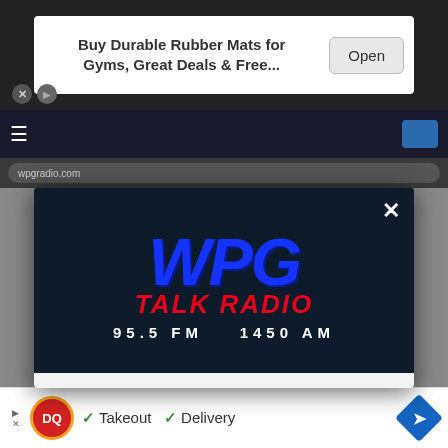[Figure (screenshot): Top advertisement banner: 'Buy Durable Rubber Mats for Gyms, Great Deals & Free...' with an 'Open' button]
[Figure (logo): WPG Talk Radio 95.5 FM 1450 AM logo on dark background with close (X) button]
DOWNLOAD THE WPG TALK RADIO 95.5 FM MOBILE APP
GET OUR FREE MOBILE APP
Also listen on: amazon alexa
[Figure (screenshot): Bottom advertisement: Dairy Queen logo with 'Takeout' and 'Delivery' checkmarks and navigation icon]